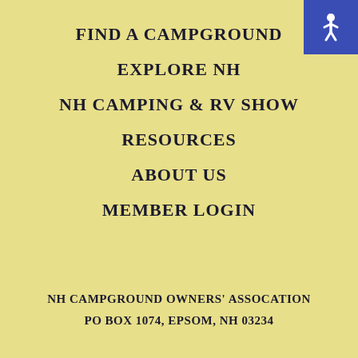FIND A CAMPGROUND
EXPLORE NH
NH CAMPING & RV SHOW
RESOURCES
ABOUT US
MEMBER LOGIN
[Figure (logo): Blue accessibility icon button in top-right corner showing a person symbol in white on blue background]
NH CAMPGROUND OWNERS' ASSOCATION
PO BOX 1074, EPSOM, NH 03234